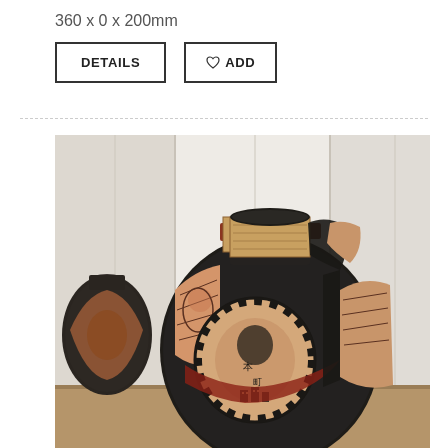360 x 0 x 200mm
[Figure (other): Two buttons: DETAILS (outlined rectangular button) and a heart-icon ADD (outlined rectangular button with heart symbol)]
[Figure (photo): A large decorative ceramic vase with dark charcoal/black textured surface adorned with Japanese-style painted panels featuring figures and geometric checkered patterns in red, beige, and blue tones. A second smaller similar vase is partially visible on the left. Background shows white paneled walls and wooden flooring.]